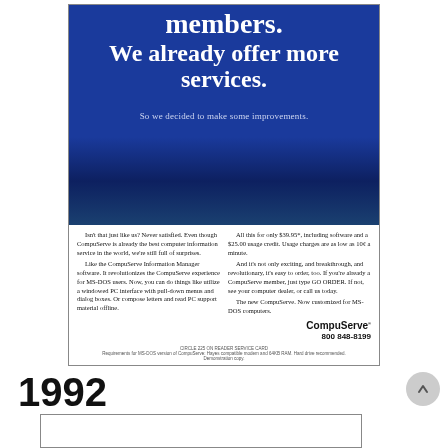[Figure (illustration): CompuServe advertisement with blue background and white text. Headline reads 'members. We already offer more services.' with subheadline 'So we decided to make some improvements.' Below is white section with two-column body copy describing CompuServe Information Manager software, pricing of $39.95 with $25.00 usage credit, and contact information. CompuServe logo and phone number 800 848-8199 at bottom right.]
1992
[Figure (illustration): Bottom strip showing start of another advertisement section]